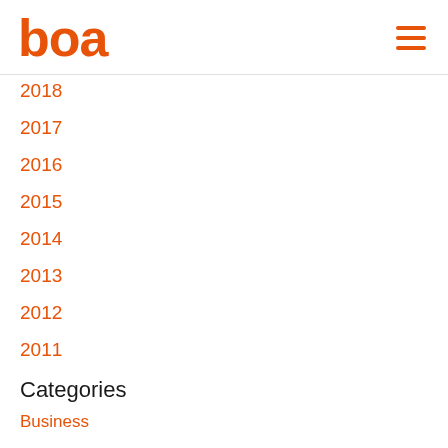boa
2018
2017
2016
2015
2014
2013
2012
2011
Categories
Business
Carrier
Compliance